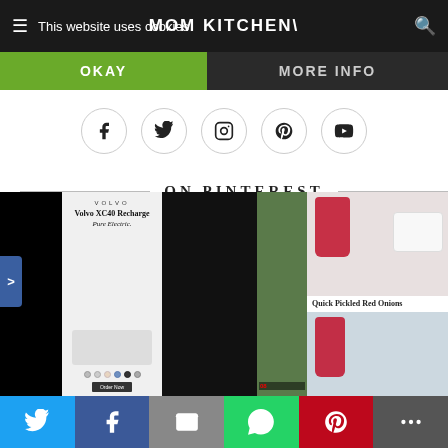This website uses cookies | MOM KITCHEN (logo)
OKAY
MORE INFO
[Figure (infographic): Row of 5 social media icon circles: Facebook, Twitter, Instagram, Pinterest, YouTube]
ON PINTEREST
[Figure (screenshot): Pinterest grid showing a Volvo XC40 Recharge advertisement, black image, food image, Quick Pickled Red Onions recipe image with jar and pickled onions on white plate]
Share bar with Twitter, Facebook, Email, WhatsApp, Pinterest, More icons